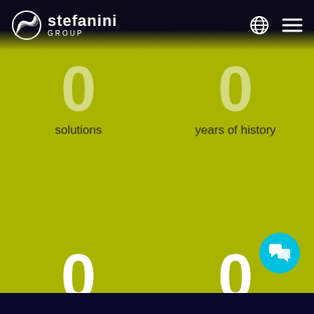Stefanini Group
0 solutions
0 years of history
0 companies in the group
0 employees